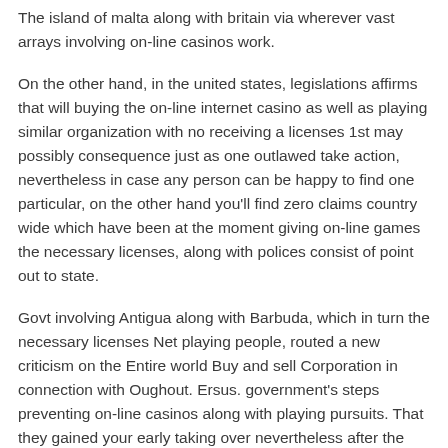The island of malta along with britain via wherever vast arrays involving on-line casinos work.
On the other hand, in the united states, legislations affirms that will buying the on-line internet casino as well as playing similar organization with no receiving a licenses 1st may possibly consequence just as one outlawed take action, nevertheless in case any person can be happy to find one particular, on the other hand you'll find zero claims country wide which have been at the moment giving on-line games the necessary licenses, along with polices consist of point out to state.
Govt involving Antigua along with Barbuda, which in turn the necessary licenses Net playing people, routed a new criticism on the Entire world Buy and sell Corporation in connection with Oughout. Ersus. government's steps preventing on-line casinos along with playing pursuits. That they gained your early taking over nevertheless after the saying Buy and sell Business' become a huge